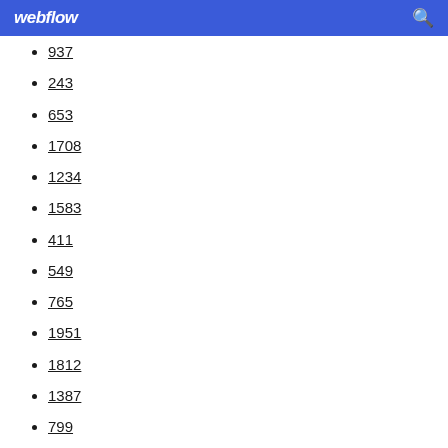webflow
937
243
653
1708
1234
1583
411
549
765
1951
1812
1387
799